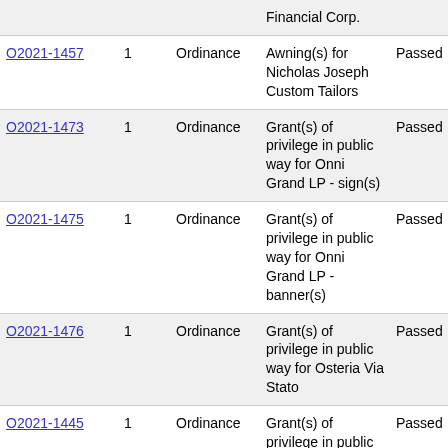| ID | Ward | Type | Description | Status |
| --- | --- | --- | --- | --- |
| O2021-1457 | 1 | Ordinance | Awning(s) for Nicholas Joseph Custom Tailors | Passed |
| O2021-1473 | 1 | Ordinance | Grant(s) of privilege in public way for Onni Grand LP - sign(s) | Passed |
| O2021-1475 | 1 | Ordinance | Grant(s) of privilege in public way for Onni Grand LP - banner(s) | Passed |
| O2021-1476 | 1 | Ordinance | Grant(s) of privilege in public way for Osteria Via Stato | Passed |
| O2021-1445 | 1 | Ordinance | Grant(s) of privilege in public way for Park Place Condo Assn. | Passed |
| O2021-1435 | 1 | Ordinance | Grant(s) of privilege in public way for Peninsula | Passed |